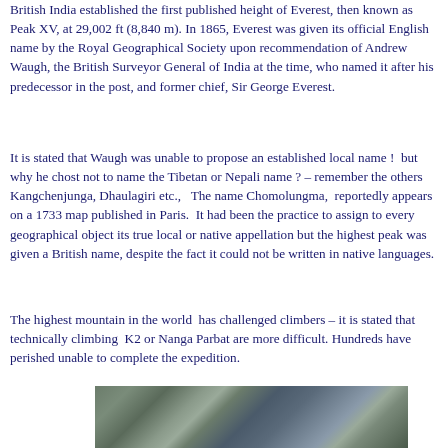British India established the first published height of Everest, then known as Peak XV, at 29,002 ft (8,840 m). In 1865, Everest was given its official English name by the Royal Geographical Society upon recommendation of Andrew Waugh, the British Surveyor General of India at the time, who named it after his predecessor in the post, and former chief, Sir George Everest.
It is stated that Waugh was unable to propose an established local name !  but why he chost not to name the Tibetan or Nepali name ? – remember the others Kangchenjunga, Dhaulagiri etc.,   The name Chomolungma,  reportedly appears on a 1733 map published in Paris.  It had been the practice to assign to every geographical object its true local or native appellation but the highest peak was given a British name, despite the fact it could not be written in native languages.
The highest mountain in the world  has challenged climbers – it is stated that technically climbing  K2 or Nanga Parbat are more difficult. Hundreds have perished unable to complete the expedition.
[Figure (photo): Partial photograph of a person, possibly a climber, shown from the bottom of the page]